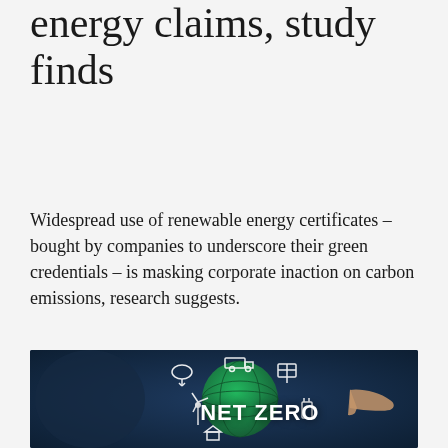energy claims, study finds
Widespread use of renewable energy certificates – bought by companies to underscore their green credentials – is masking corporate inaction on carbon emissions, research suggests.
[Figure (photo): A person pointing at a glowing green globe with NET ZERO text and green energy icons floating around it, on a dark blue background.]